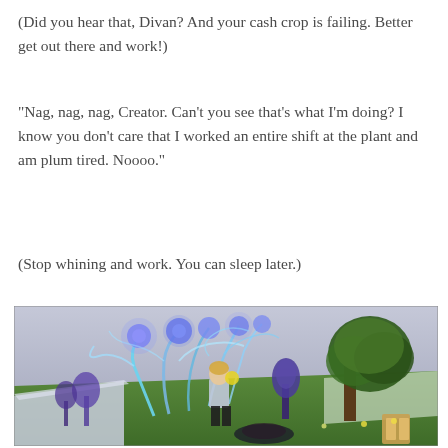(Did you hear that, Divan? And your cash crop is failing. Better get out there and work!)
“Nag, nag, nag, Creator. Can’t you see that’s what I’m doing? I know you don’t care that I worked an entire shift at the plant and am plum tired. Noooo.”
(Stop whining and work. You can sleep later.)
[Figure (screenshot): Screenshot from The Sims 4 showing a Sim character in a lab coat tending to glowing blue alien-like plants in a garden area with a large green tree on the right side. The scene has a purple/blue magical atmosphere.]